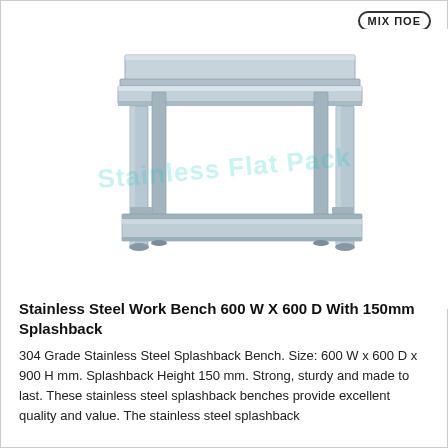[Figure (photo): Stainless steel work bench with backsplash/splashback at the top, four legs, and a lower undershelf. The bench is shown in a product photo style with watermark text 'Stainless Flat Pack' overlaid on the image.]
Stainless Steel Work Bench 600 W X 600 D With 150mm Splashback
304 Grade Stainless Steel Splashback Bench. Size: 600 W x 600 D x 900 H mm. Splashback Height 150 mm. Strong, sturdy and made to last. These stainless steel splashback benches provide excellent quality and value. The stainless steel splashback